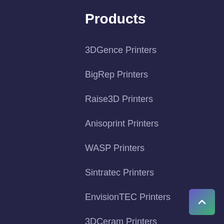Products
3DGence Printers
BigRep Printers
Raise3D Printers
Anisoprint Printers
WASP Printers
Sintratec Printers
EnvisionTEC Printers
3DCeram Printers
Nano Dimension Printers